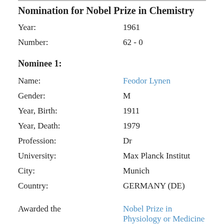Nomination for Nobel Prize in Chemistry
Year: 1961
Number: 62 - 0
Nominee 1:
Name: Feodor Lynen
Gender: M
Year, Birth: 1911
Year, Death: 1979
Profession: Dr
University: Max Planck Institut
City: Munich
Country: GERMANY (DE)
Awarded the Nobel Prize in Physiology or Medicine